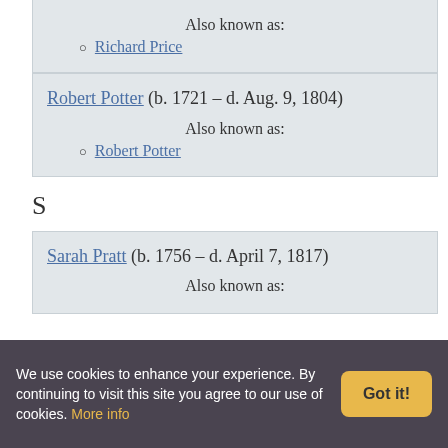Richard Price
Robert Potter (b. 1721 - d. Aug. 9, 1804)
Also known as:
Robert Potter
S
Sarah Pratt (b. 1756 - d. April 7, 1817)
Also known as:
We use cookies to enhance your experience. By continuing to visit this site you agree to our use of cookies. More info